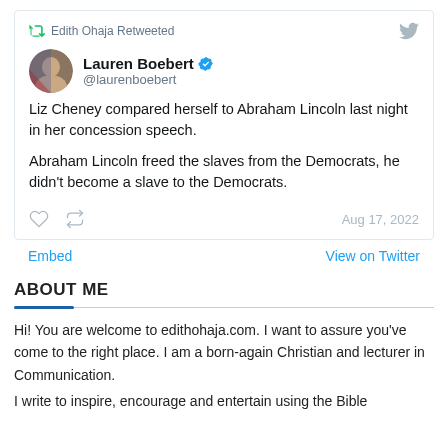[Figure (screenshot): Embedded tweet card from Lauren Boebert retweeted by Edith Ohaja. Text: 'Liz Cheney compared herself to Abraham Lincoln last night in her concession speech. Abraham Lincoln freed the slaves from the Democrats, he didn't become a slave to the Democrats.' Dated Aug 17, 2022.]
Embed   View on Twitter
ABOUT ME
Hi! You are welcome to edithohaja.com. I want to assure you've come to the right place. I am a born-again Christian and lecturer in Communication.
I write to inspire, encourage and entertain using the Bible